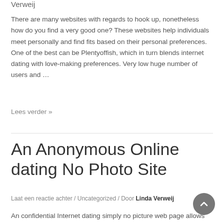Verweij
There are many websites with regards to hook up, nonetheless how do you find a very good one? These websites help individuals meet personally and find fits based on their personal preferences. One of the best can be Plentyoffish, which in turn blends internet dating with love-making preferences. Very low huge number of users and …
Lees verder »
An Anonymous Online dating No Photo Site
Laat een reactie achter / Uncategorized / Door Linda Verweij
An confidential Internet dating simply no picture web page allows you to night out without showing your face. You